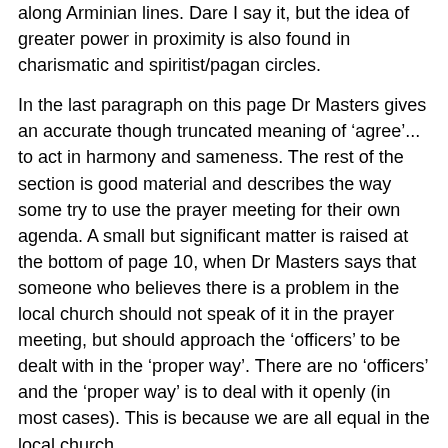along Arminian lines. Dare I say it, but the idea of greater power in proximity is also found in charismatic and spiritist/pagan circles.
In the last paragraph on this page Dr Masters gives an accurate though truncated meaning of ‘agree’... to act in harmony and sameness. The rest of the section is good material and describes the way some try to use the prayer meeting for their own agenda. A small but significant matter is raised at the bottom of page 10, when Dr Masters says that someone who believes there is a problem in the local church should not speak of it in the prayer meeting, but should approach the ‘officers’ to be dealt with in the ‘proper way’. There are no ‘officers’ and the ‘proper way’ is to deal with it openly (in most cases). This is because we are all equal in the local church.
Errors Multiplied
A degree of manipulation is them resorted to as Dr Masters talks of “true Christians who opt out of the... prayer meeting... Do we deprive our church of its... blessing by our failure to support the prayer meeting?” This is the usual ‘guilt thing’. By assuming (wrongly) that we are commanded to pray together routinely and without special urgency, he thinks that we cause our church not to be